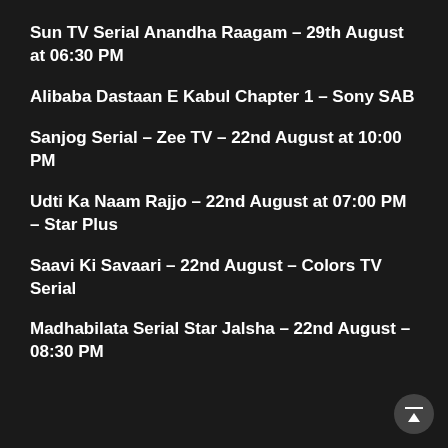Sun TV Serial Anandha Raagam – 29th August at 06:30 PM
Alibaba Dastaan E Kabul Chapter 1 – Sony SAB
Sanjog Serial – Zee TV – 22nd August at 10:00 PM
Udti Ka Naam Rajjo – 22nd August at 07:00 PM – Star Plus
Saavi Ki Savaari – 22nd August – Colors TV Serial
Madhabilata Serial Star Jalsha – 22nd August – 08:30 PM